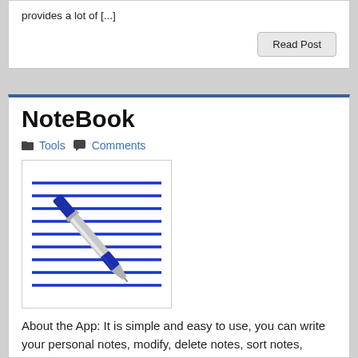provides a lot of [...]
Read Post
NoteBook
Tools   Comments
[Figure (illustration): Notebook icon: white page with horizontal blue lines and a blue ballpoint pen laid diagonally across]
About the App: It is simple and easy to use, you can write your personal notes, modify, delete notes, sort notes, search notes and send a note via Email, SMS. Now you can report any bugs, crashes, or any other error in this application you can report your error. No limits for the creation of [...]
Read Post